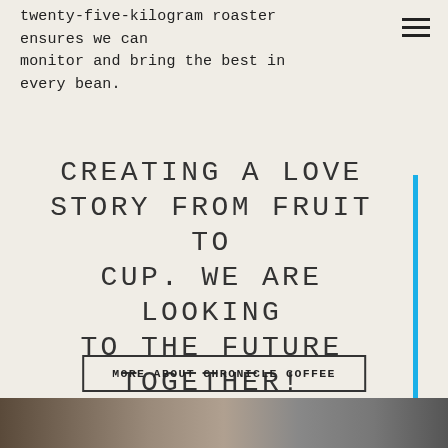twenty-five-kilogram roaster ensures we can monitor and bring the best in every bean.
CREATING A LOVE STORY FROM FRUIT TO CUP. WE ARE LOOKING TO THE FUTURE TOGETHER!
MORE ABOUT CHRONICLE COFFEE
[Figure (photo): Photo strip at the bottom of the page showing coffee-related imagery]